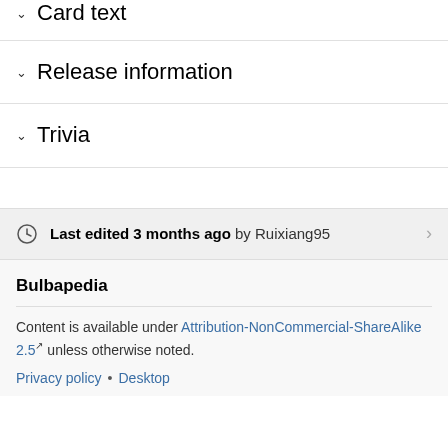Card text
Release information
Trivia
Last edited 3 months ago by Ruixiang95
Bulbapedia
Content is available under Attribution-NonCommercial-ShareAlike 2.5 unless otherwise noted.
Privacy policy • Desktop